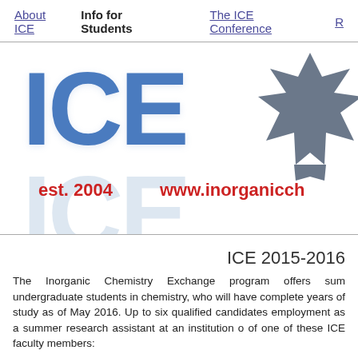About ICE  Info for Students  The ICE Conference  R
[Figure (logo): ICE (Inorganic Chemistry Exchange) logo with large blue ICE text, a maple leaf graphic, 'est. 2004' in red, and 'www.inorganicch...' URL in red]
ICE 2015-2016
The Inorganic Chemistry Exchange program offers sum undergraduate students in chemistry, who will have complete years of study as of May 2016. Up to six qualified candidates employment as a summer research assistant at an institution o of one of these ICE faculty members: